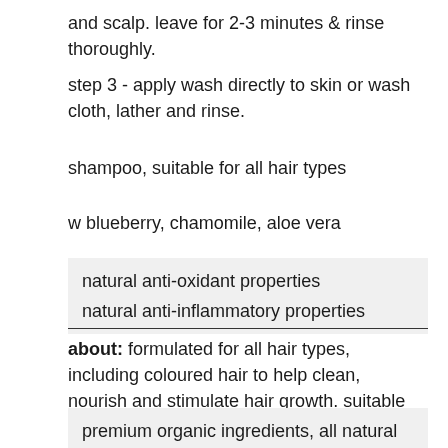and scalp. leave for 2-3 minutes & rinse thoroughly.
step 3 - apply wash directly to skin or wash cloth, lather and rinse.
shampoo, suitable for all hair types
w blueberry, chamomile, aloe vera
natural anti-oxidant properties
natural anti-inflammatory properties
about: formulated for all hair types, including coloured hair to help clean, nourish and stimulate hair growth. suitable from ages 3+
premium organic ingredients, all natural ingredients, not tested on animals, vegan, toxic free, palm oil free